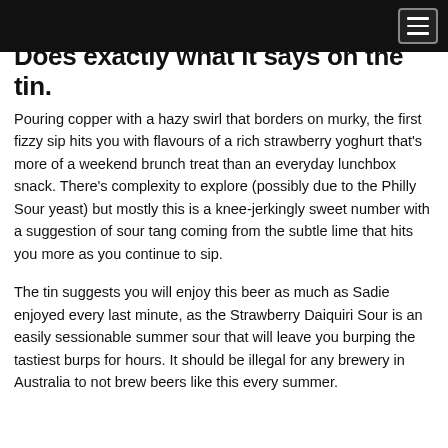Does exactly what it says on the tin.
Pouring copper with a hazy swirl that borders on murky, the first fizzy sip hits you with flavours of a rich strawberry yoghurt that's more of a weekend brunch treat than an everyday lunchbox snack. There's complexity to explore (possibly due to the Philly Sour yeast) but mostly this is a knee-jerkingly sweet number with a suggestion of sour tang coming from the subtle lime that hits you more as you continue to sip.
The tin suggests you will enjoy this beer as much as Sadie enjoyed every last minute, as the Strawberry Daiquiri Sour is an easily sessionable summer sour that will leave you burping the tastiest burps for hours. It should be illegal for any brewery in Australia to not brew beers like this every summer.